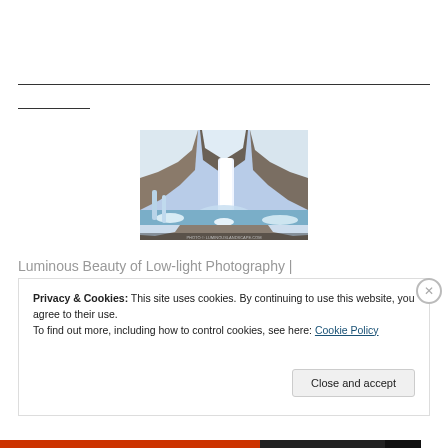[Figure (photo): A winter waterfall scene with snow-covered rocks and cliffs, water cascading down into a pool below.]
Luminous Beauty of Low-light Photography |
Privacy & Cookies: This site uses cookies. By continuing to use this website, you agree to their use.
To find out more, including how to control cookies, see here: Cookie Policy
Close and accept